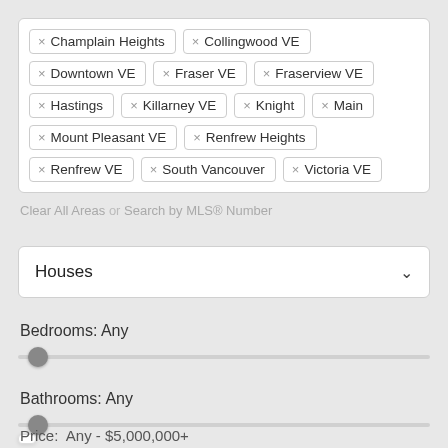× Champlain Heights, × Collingwood VE, × Downtown VE, × Fraser VE, × Fraserview VE, × Hastings, × Killarney VE, × Knight, × Main, × Mount Pleasant VE, × Renfrew Heights, × Renfrew VE, × South Vancouver, × Victoria VE
Clear All Areas or Search by MLS® Number
Houses
Bedrooms: Any
Bathrooms: Any
Price: Any - $5,000,000+